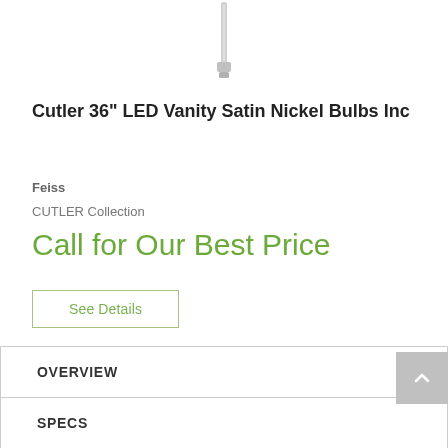[Figure (photo): Bottom portion of a cylindrical pendant light fixture in satin nickel finish, showing the lower tube and connector]
Cutler 36" LED Vanity Satin Nickel Bulbs Inc
Feiss
CUTLER Collection
Call for Our Best Price
See Details
OVERVIEW
SPECS